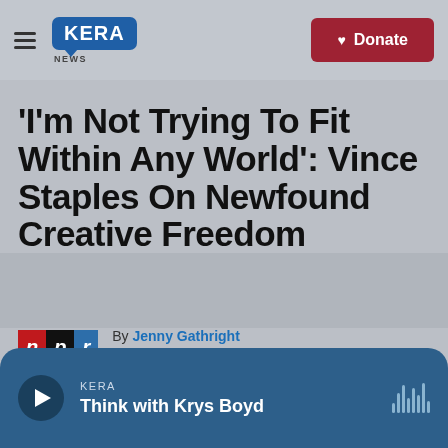KERA NEWS — Donate
'I'm Not Trying To Fit Within Any World': Vince Staples On Newfound Creative Freedom
By Jenny Gathright
Published July 9, 2021 at 5:16 AM CDT
KERA
Think with Krys Boyd